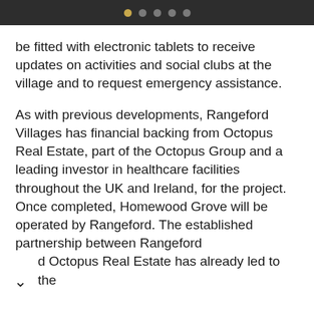● ● ● ● ●
be fitted with electronic tablets to receive updates on activities and social clubs at the village and to request emergency assistance.
As with previous developments, Rangeford Villages has financial backing from Octopus Real Estate, part of the Octopus Group and a leading investor in healthcare facilities throughout the UK and Ireland, for the project. Once completed, Homewood Grove will be operated by Rangeford. The established partnership between Rangeford and Octopus Real Estate has already led to the